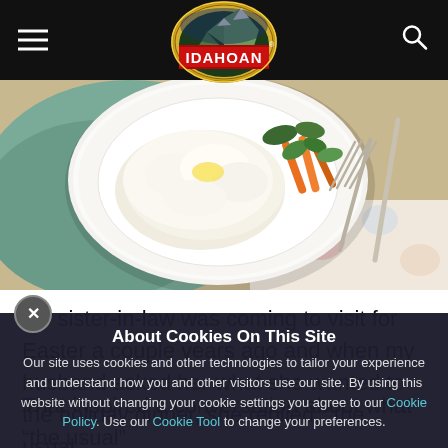[Figure (logo): Idahoan brand logo — gold oval badge with mountain scene and red banner reading IDAHOAN]
[Figure (photo): A white plate with mashed potatoes topped with butter, accompanied by colorful roasted vegetables (carrots, greens) and a fork on a floral tablecloth]
My sister-in-law was coming to visit for Easter a couple years ago and when my husband asked her what she wanted to the holiday dinner, she replied, “the usual.” That inspired a conversation about what “the usual”
About Cookies On This Site
Our site uses cookies and other technologies to tailor your experience and understand how you and other visitors use our site. By using this website without changing your cookie settings you agree to our Cookie Policy. Use our Cookie Tool to change your preferences.